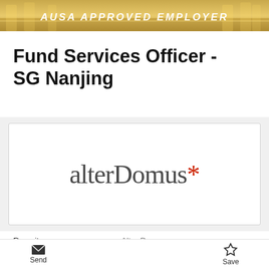[Figure (photo): Gold banner at top with stylized text 'AUSA APPROVED EMPLOYER']
Fund Services Officer - SG Nanjing
[Figure (logo): alterDomus* company logo — grey serif text with red asterisk]
Recruiter	Alter Domus
Location	Nanjing, CN
Send   Save